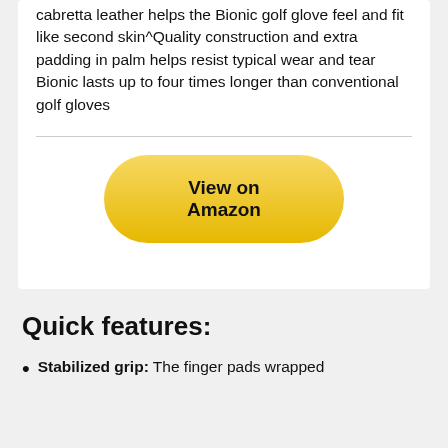cabretta leather helps the Bionic golf glove feel and fit like second skin^Quality construction and extra padding in palm helps resist typical wear and tear Bionic lasts up to four times longer than conventional golf gloves
[Figure (other): Yellow rounded button labeled 'View on Amazon']
Quick features:
Stabilized grip: The finger pads wrapped